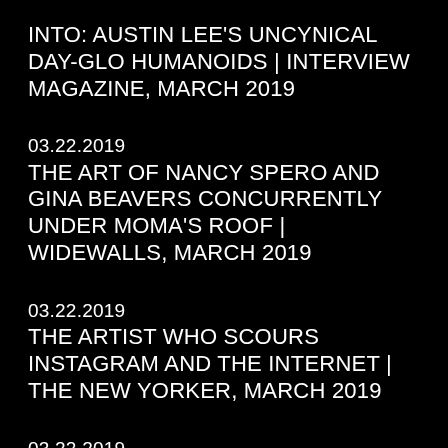INTO: AUSTIN LEE'S UNCYNICAL DAY-GLO HUMANOIDS | INTERVIEW MAGAZINE, MARCH 2019
03.22.2019
THE ART OF NANCY SPERO AND GINA BEAVERS CONCURRENTLY UNDER MOMA'S ROOF | WIDEWALLS, MARCH 2019
03.22.2019
THE ARTIST WHO SCOURS INSTAGRAM AND THE INTERNET | THE NEW YORKER, MARCH 2019
03.22.2019